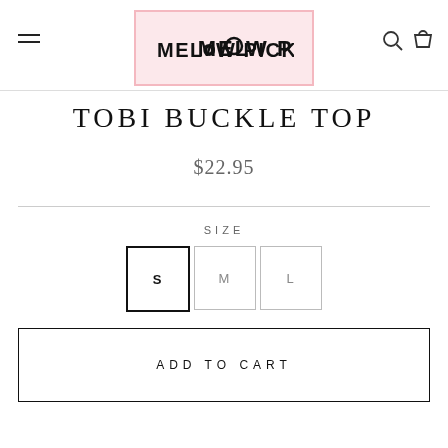[Figure (logo): Mellow Picks logo in a pink-bordered box]
TOBI BUCKLE TOP
$22.95
SIZE
S   M   L
ADD TO CART